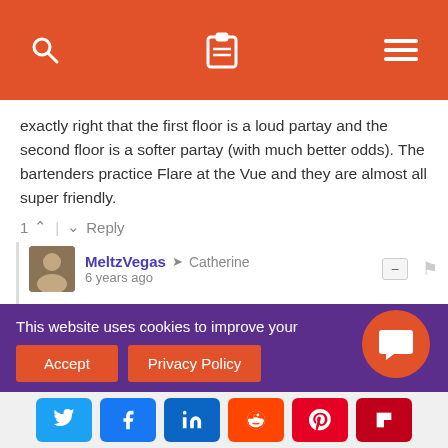Navigation bar with search, cart, and menu icons
exactly right that the first floor is a loud partay and the second floor is a softer partay (with much better odds). The bartenders practice Flare at the Vue and they are almost all super friendly.
1 ^ | v Reply
MeltzVegas → Catherine
6 years ago
Catherine, the bartenders at Vue are great. They're not as busy as Long Bar so they can focus a little more time with the customers.
This website uses cookies to improve your ...ce.
Accept  Privacy Policy